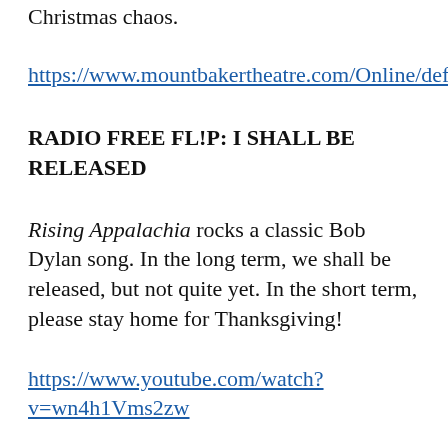Christmas chaos.
https://www.mountbakertheatre.com/Online/default.asp
RADIO FREE FL!P: I SHALL BE RELEASED
Rising Appalachia rocks a classic Bob Dylan song. In the long term, we shall be released, but not quite yet. In the short term, please stay home for Thanksgiving!
https://www.youtube.com/watch?v=wn4h1Vms2zw
Love/Fl!p 360-671-4511  2518 Cherry Street flip@columbianeighborhood.org